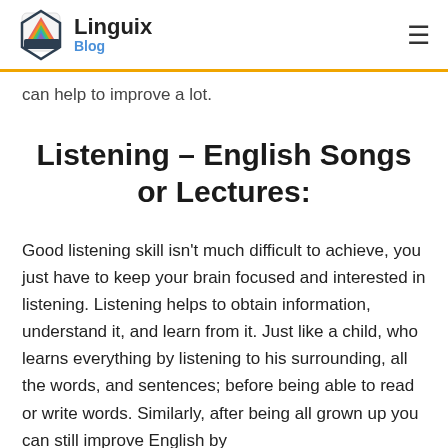Linguix Blog
can help to improve a lot.
Listening – English Songs or Lectures:
Good listening skill isn't much difficult to achieve, you just have to keep your brain focused and interested in listening. Listening helps to obtain information, understand it, and learn from it. Just like a child, who learns everything by listening to his surrounding, all the words, and sentences; before being able to read or write words. Similarly, after being all grown up you can still improve English by